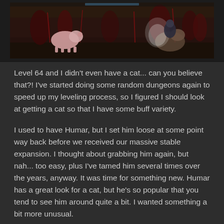[Figure (screenshot): A screenshot from a video game showing fantasy creatures in a dark outdoor environment. On the left, a pink/white animal (possibly a pig or bear cub) is visible. On the right, a character on a mount with glowing effects is shown. The background features dark reddish vegetation.]
Level 64 and I didn't even have a cat... can you believe that?! I've started doing some random dungeons again to speed up my leveling process, so I figured I should look at getting a cat so that I have some buff variety.
I used to have Humar, but I set him loose at some point way back before we received our massive stable expansion. I thought about grabbing him again, but nah... too easy, plus I've tamed him several times over the years, anyway. It was time for something new. Humar has a great look for a cat, but he's so popular that you tend to see him around quite a bit. I wanted something a bit more unusual.